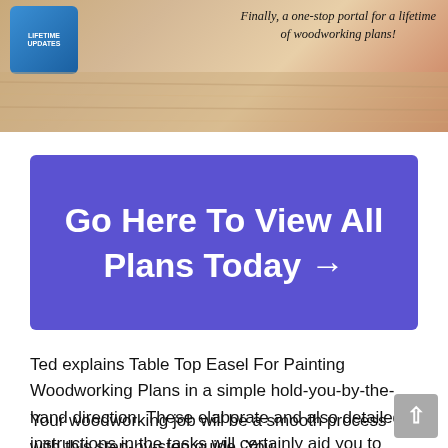[Figure (photo): Woodworking plans banner with a man image, blue badge with 'LIFETIME UPDATES' text, and italic text reading 'Finally, a one-stop portal for a lifetime of woodworking plans!']
[Figure (infographic): Purple/blue CTA button with white bold text: 'Go Here To View All Plans Today →']
Ted explains Table Top Easel For Painting Woodworking Plans in a simple hold-you-by-the-hand direction. These elaborate and also detailed instructions in the tasks will certainly aid you to finish the job immediately.
Your woodworking job will be a smooth process with this step-by-step guide. You